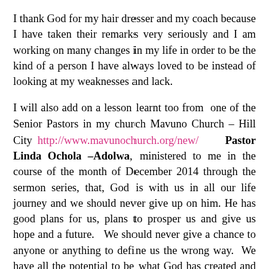I thank God for my hair dresser and my coach because I have taken their remarks very seriously and I am working on many changes in my life in order to be the kind of a person I have always loved to be instead of looking at my weaknesses and lack.
I will also add on a lesson learnt too from one of the Senior Pastors in my church Mavuno Church – Hill City http://www.mavunochurch.org/new/ Pastor Linda Ochola –Adolwa, ministered to me in the course of the month of December 2014 through the sermon series, that, God is with us in all our life journey and we should never give up on him. He has good plans for us, plans to prosper us and give us hope and a future. We should never give a chance to anyone or anything to define us the wrong way. We have all the potential to be what God has created and purposed us to be as long we are ready to surrender to him and put all our trust in him. Of course we will face many challenges, but with him, he